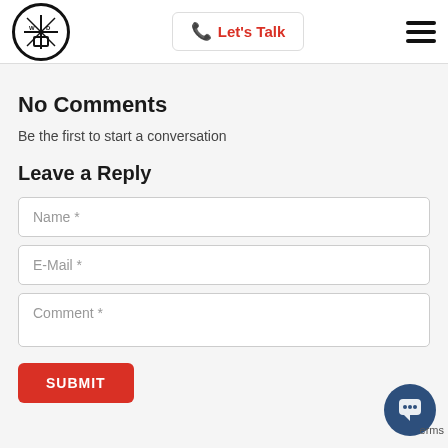Let's Talk
No Comments
Be the first to start a conversation
Leave a Reply
Name *
E-Mail *
Comment *
SUBMIT